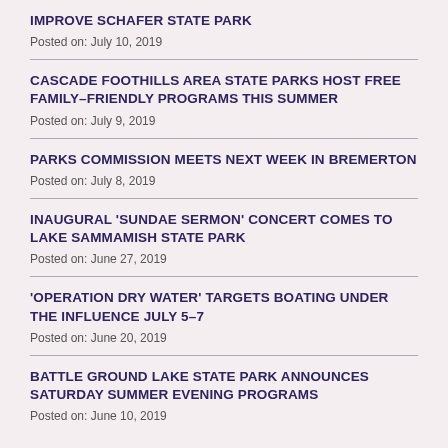IMPROVE SCHAFER STATE PARK
Posted on: July 10, 2019
CASCADE FOOTHILLS AREA STATE PARKS HOST FREE FAMILY-FRIENDLY PROGRAMS THIS SUMMER
Posted on: July 9, 2019
PARKS COMMISSION MEETS NEXT WEEK IN BREMERTON
Posted on: July 8, 2019
INAUGURAL ‘SUNDAE SERMON’ CONCERT COMES TO LAKE SAMMAMISH STATE PARK
Posted on: June 27, 2019
‘OPERATION DRY WATER’ TARGETS BOATING UNDER THE INFLUENCE JULY 5-7
Posted on: June 20, 2019
BATTLE GROUND LAKE STATE PARK ANNOUNCES SATURDAY SUMMER EVENING PROGRAMS
Posted on: June 10, 2019